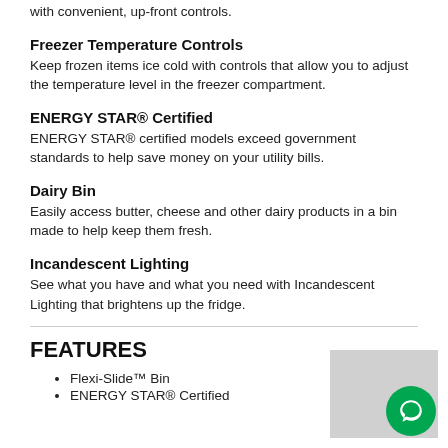with convenient, up-front controls.
Freezer Temperature Controls
Keep frozen items ice cold with controls that allow you to adjust the temperature level in the freezer compartment.
ENERGY STAR® Certified
ENERGY STAR® certified models exceed government standards to help save money on your utility bills.
Dairy Bin
Easily access butter, cheese and other dairy products in a bin made to help keep them fresh.
Incandescent Lighting
See what you have and what you need with Incandescent Lighting that brightens up the fridge.
FEATURES
Flexi-Slide™ Bin
ENERGY STAR® Certified